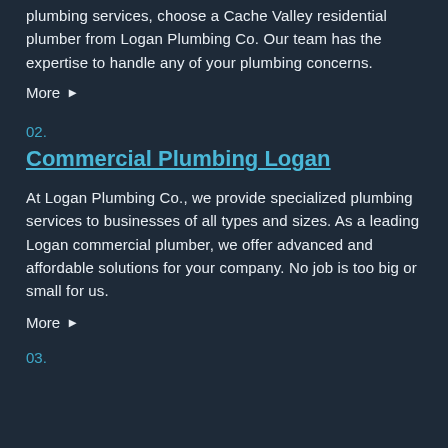plumbing services, choose a Cache Valley residential plumber from Logan Plumbing Co. Our team has the expertise to handle any of your plumbing concerns.
More ▶
02.
Commercial Plumbing Logan
At Logan Plumbing Co., we provide specialized plumbing services to businesses of all types and sizes. As a leading Logan commercial plumber, we offer advanced and affordable solutions for your company. No job is too big or small for us.
More ▶
03.